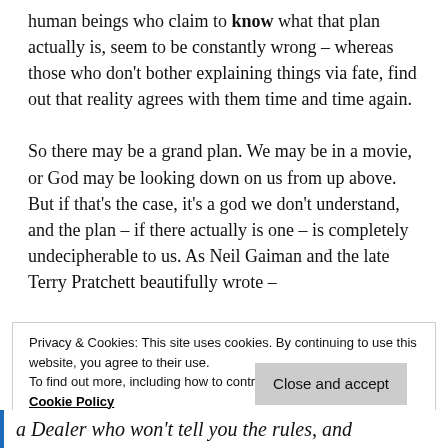human beings who claim to know what that plan actually is, seem to be constantly wrong – whereas those who don't bother explaining things via fate, find out that reality agrees with them time and time again.

So there may be a grand plan. We may be in a movie, or God may be looking down on us from up above. But if that's the case, it's a god we don't understand, and the plan – if there actually is one – is completely undecipherable to us. As Neil Gaiman and the late Terry Pratchett beautifully wrote –
Privacy & Cookies: This site uses cookies. By continuing to use this website, you agree to their use.
To find out more, including how to control cookies, see here: Cookie Policy
Close and accept
a Dealer who won't tell you the rules, and